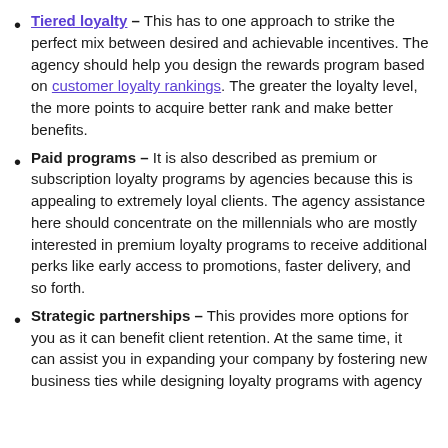Tiered loyalty – This has to one approach to strike the perfect mix between desired and achievable incentives. The agency should help you design the rewards program based on customer loyalty rankings. The greater the loyalty level, the more points to acquire better rank and make better benefits.
Paid programs – It is also described as premium or subscription loyalty programs by agencies because this is appealing to extremely loyal clients. The agency assistance here should concentrate on the millennials who are mostly interested in premium loyalty programs to receive additional perks like early access to promotions, faster delivery, and so forth.
Strategic partnerships – This provides more options for you as it can benefit client retention. At the same time, it can assist you in expanding your company by fostering new business ties while designing loyalty programs with agency